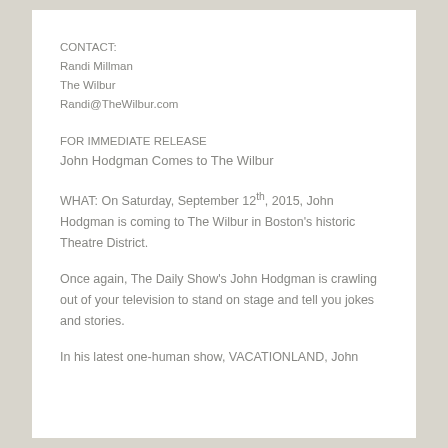CONTACT:
Randi Millman
The Wilbur
Randi@TheWilbur.com
FOR IMMEDIATE RELEASE
John Hodgman Comes to The Wilbur
WHAT: On Saturday, September 12th, 2015, John Hodgman is coming to The Wilbur in Boston's historic Theatre District.
Once again, The Daily Show's John Hodgman is crawling out of your television to stand on stage and tell you jokes and stories.
In his latest one-human show, VACATIONLAND, John